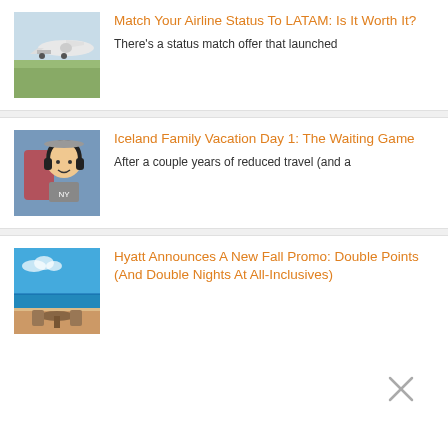[Figure (photo): Photo of an airplane on a runway with green grass]
Match Your Airline Status To LATAM: Is It Worth It?
There's a status match offer that launched
[Figure (photo): Photo of a child wearing noise-canceling headphones on an airplane]
Iceland Family Vacation Day 1: The Waiting Game
After a couple years of reduced travel (and a
[Figure (photo): Photo of a resort with ocean view and outdoor seating]
Hyatt Announces A New Fall Promo: Double Points (And Double Nights At All-Inclusives)